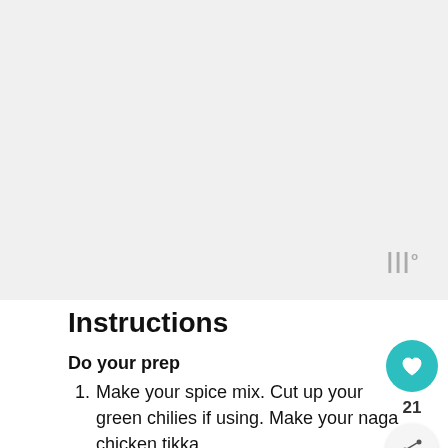[Figure (photo): Cropped food photo area, mostly grey/light background, image cut off at top of page]
Instructions
Do your prep
1. Make your spice mix. Cut up your green chilies if using. Make your naga chicken tikka.
2. Dilute your curry gravy with 2